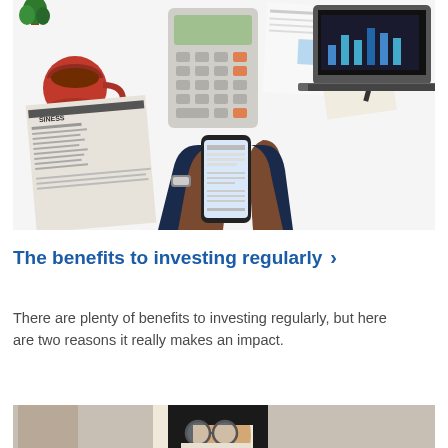[Figure (photo): Overhead view of a businessman holding a smartphone at a desk with a calculator, business newspaper, laptop showing charts, coffee cup, and various documents]
The benefits to investing regularly >
There are plenty of benefits to investing regularly, but here are two reasons it really makes an impact.
[Figure (photo): Partial view of a woman with glasses and dark hair, cropped at the bottom of the page]